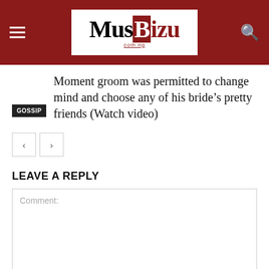MusBizu.com.ng
GOSSIP
Moment groom was permitted to change mind and choose any of his bride’s pretty friends (Watch video)
LEAVE A REPLY
Comment: